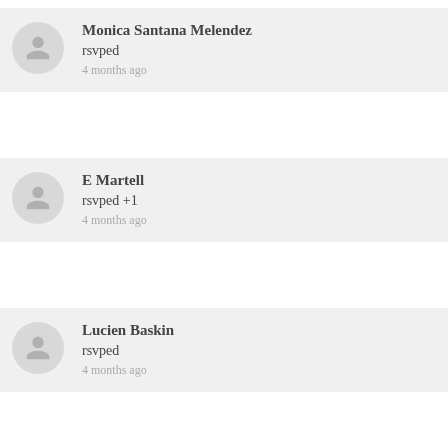Monica Santana Melendez
rsvped
4 months ago
E Martell
rsvped +1
4 months ago
Lucien Baskin
rsvped
4 months ago